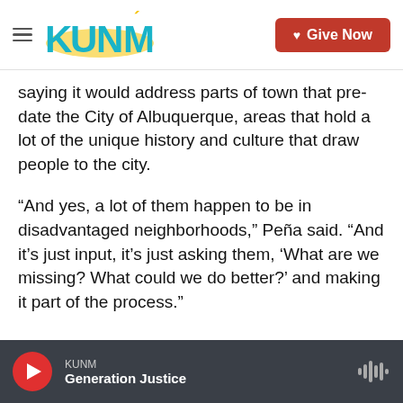KUNM | Give Now
saying it would address parts of town that pre-date the City of Albuquerque, areas that hold a lot of the unique history and culture that draw people to the city.
“And yes, a lot of them happen to be in disadvantaged neighborhoods,” Peña said. “And it’s just input, it’s just asking them, ‘What are we missing? What could we do better?’ and making it part of the process.”
Councilor Isaac Benton said he agrees those neighborhoods should get “special treatment,” but he said they’ll have the same amount of input over the
KUNM | Generation Justice